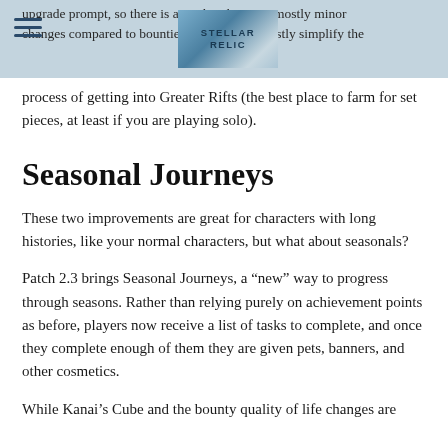upgrade prompt, so there is a guide. These are mostly minor changes compared to bounties, though, and mostly simplify the
process of getting into Greater Rifts (the best place to farm for set pieces, at least if you are playing solo).
Seasonal Journeys
These two improvements are great for characters with long histories, like your normal characters, but what about seasonals?
Patch 2.3 brings Seasonal Journeys, a “new” way to progress through seasons. Rather than relying purely on achievement points as before, players now receive a list of tasks to complete, and once they complete enough of them they are given pets, banners, and other cosmetics.
While Kanai’s Cube and the bounty quality of life changes are